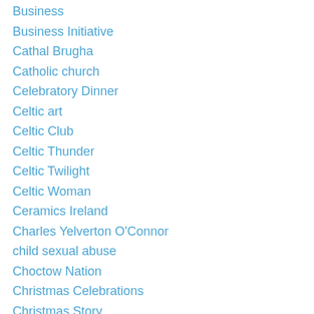Business
Business Initiative
Cathal Brugha
Catholic church
Celebratory Dinner
Celtic art
Celtic Club
Celtic Thunder
Celtic Twilight
Celtic Woman
Ceramics Ireland
Charles Yelverton O'Connor
child sexual abuse
Choctow Nation
Christmas Celebrations
Christmas Story
Church Memorial Service
Clan Gathering
Clare Valley
Co Donegal